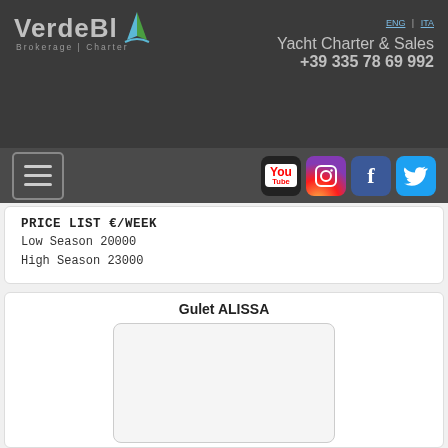VerdeBlu Brokerage | Charter — Yacht Charter & Sales +39 335 78 69 992 | ENG | ITA
PRICE LIST €/WEEK
Low Season 20000
High Season 23000
Gulet ALISSA
[Figure (photo): Empty image placeholder for Gulet ALISSA photo]
BOOKING   VIEW